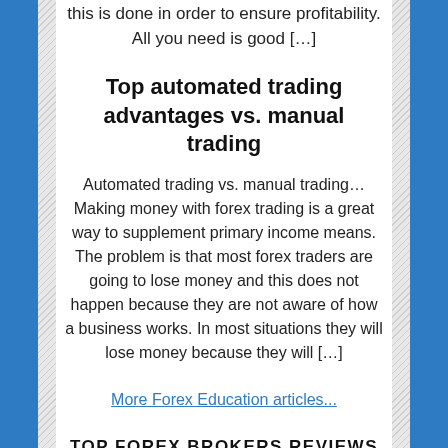this is done in order to ensure profitability. All you need is good […]
Top automated trading advantages vs. manual trading
Automated trading vs. manual trading… Making money with forex trading is a great way to supplement primary income means. The problem is that most forex traders are going to lose money and this does not happen because they are not aware of how a business works. In most situations they will lose money because they will […]
More Forex Education articles...
TOP FOREX BROKERS REVIEWS